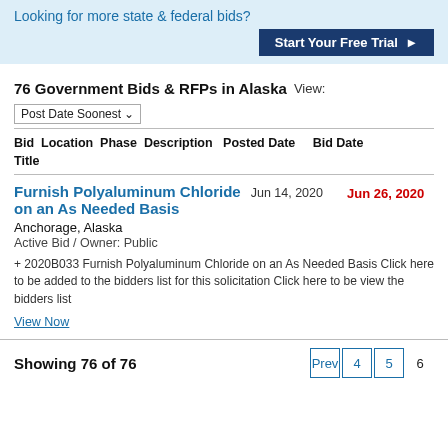Looking for more state & federal bids?
Start Your Free Trial ▶
76 Government Bids & RFPs in Alaska  View: Post Date Soonest
| Bid Title | Location | Phase | Description | Posted Date | Bid Date |
| --- | --- | --- | --- | --- | --- |
| Furnish Polyaluminum Chloride on an As Needed Basis | Anchorage, Alaska | Active Bid / Owner: Public | + 2020B033 Furnish Polyaluminum Chloride on an As Needed Basis Click here to be added to the bidders list for this solicitation Click here to be view the bidders list | Jun 14, 2020 | Jun 26, 2020 |
View Now
Showing 76 of 76
Prev  4  5  6